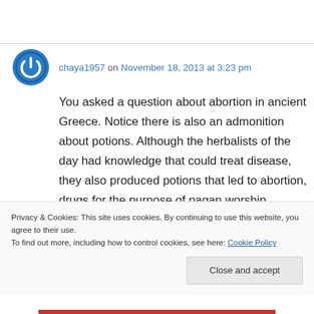chaya1957 on November 18, 2013 at 3:23 pm
You asked a question about abortion in ancient Greece. Notice there is also an admonition about potions. Although the herbalists of the day had knowledge that could treat disease, they also produced potions that led to abortion, drugs for the purpose of pagan worship (hallucinogens) and deadly poisons for the purpose of murder.
Privacy & Cookies: This site uses cookies. By continuing to use this website, you agree to their use.
To find out more, including how to control cookies, see here: Cookie Policy